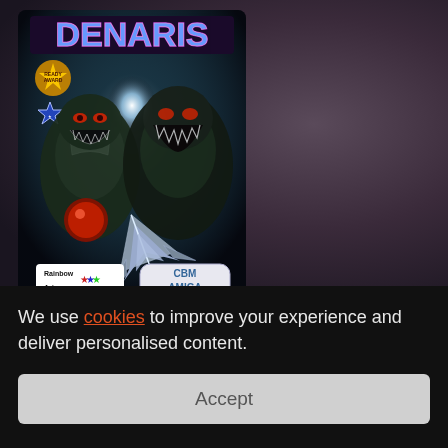[Figure (photo): Denaris video game cover art for CBM Amiga by Rainbow Arts, showing two monstrous alien creatures and a spacecraft, with the game title DENARIS at the top in large blue/pink letters]
D  •  Publisher
We use cookies to improve your experience and deliver personalised content.
Accept